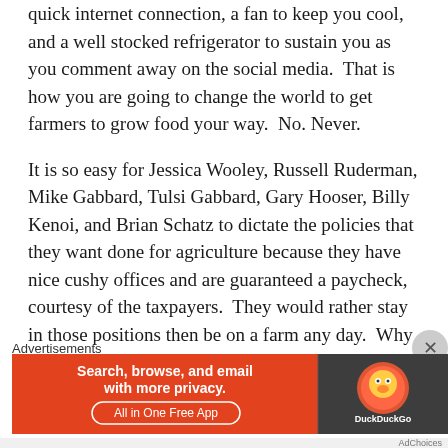quick internet connection, a fan to keep you cool, and a well stocked refrigerator to sustain you as you comment away on the social media.  That is how you are going to change the world to get farmers to grow food your way.  No. Never.
It is so easy for Jessica Wooley, Russell Ruderman, Mike Gabbard, Tulsi Gabbard, Gary Hooser, Billy Kenoi, and Brian Schatz to dictate the policies that they want done for agriculture because they have nice cushy offices and are guaranteed a paycheck, courtesy of the taxpayers.  They would rather stay in those positions then be on a farm any day.  Why do you think they are in office to begin with?  Farming is
Advertisements
[Figure (screenshot): DuckDuckGo advertisement banner: orange left section with text 'Search, browse, and email with more privacy. All in One Free App', dark right section with DuckDuckGo logo]